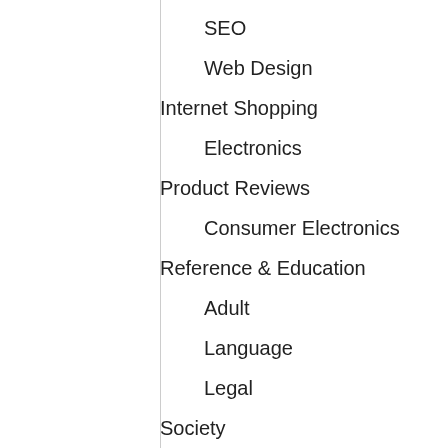SEO
Web Design
Internet Shopping
Electronics
Product Reviews
Consumer Electronics
Reference & Education
Adult
Language
Legal
Society